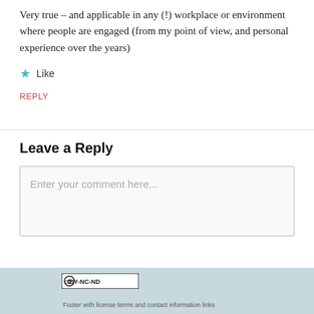Very true – and applicable in any (!) workplace or environment where people are engaged (from my point of view, and personal experience over the years)
★ Like
REPLY
Leave a Reply
Enter your comment here...
[Figure (logo): Creative Commons CC BY-NC-ND license badge]
Footer text with license information